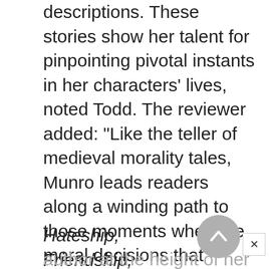descriptions. These stories show her talent for pinpointing pivotal instants in her characters' lives, noted Todd. The reviewer added: "Like the teller of medieval morality tales, Munro leads readers along a winding path to those moments when the moral decisions that determine the shape of a life are made."
Hateship, Friendship, Courtship, Loveship, Marriage: Stories shows the author at the height of her powers,